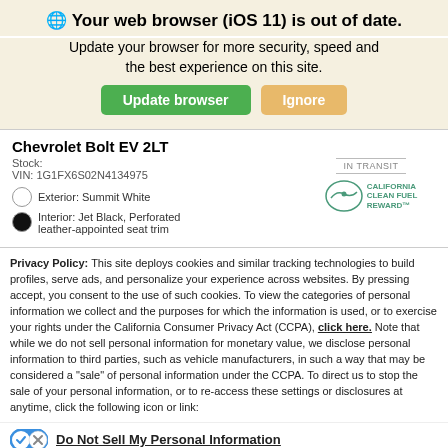🌐 Your web browser (iOS 11) is out of date.
Update your browser for more security, speed and the best experience on this site.
Chevrolet Bolt EV 2LT
Stock:
VIN: 1G1FX6S02N4134975
Exterior: Summit White
Interior: Jet Black, Perforated leather-appointed seat trim
IN TRANSIT | CALIFORNIA CLEAN FUEL REWARD
Privacy Policy: This site deploys cookies and similar tracking technologies to build profiles, serve ads, and personalize your experience across websites. By pressing accept, you consent to the use of such cookies. To view the categories of personal information we collect and the purposes for which the information is used, or to exercise your rights under the California Consumer Privacy Act (CCPA), click here. Note that while we do not sell personal information for monetary value, we disclose personal information to third parties, such as vehicle manufacturers, in such a way that may be considered a "sale" of personal information under the CCPA. To direct us to stop the sale of your personal information, or to re-access these settings or disclosures at anytime, click the following icon or link:
Do Not Sell My Personal Information
Language: English
Powered by ComplyAuto
Accept and Continue → | California Privacy Disclosures